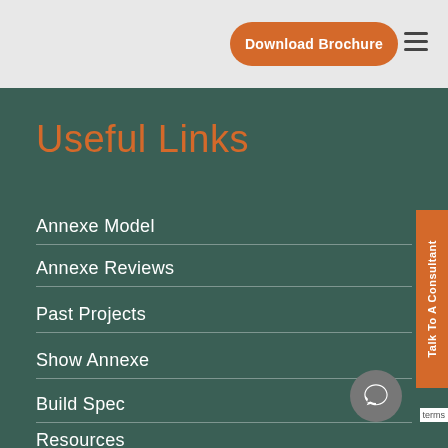Download Brochure
Useful Links
Annexe Model
Annexe Reviews
Past Projects
Show Annexe
Build Spec
Resources